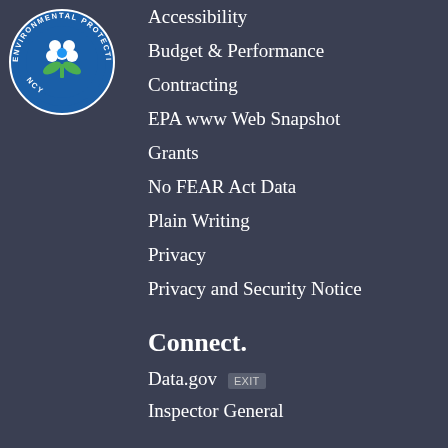[Figure (logo): EPA Environmental Protection Agency circular logo with blue background, white flower/leaf emblem, and text around the border]
Accessibility
Budget & Performance
Contracting
EPA www Web Snapshot
Grants
No FEAR Act Data
Plain Writing
Privacy
Privacy and Security Notice
Connect.
Data.gov EXIT
Inspector General